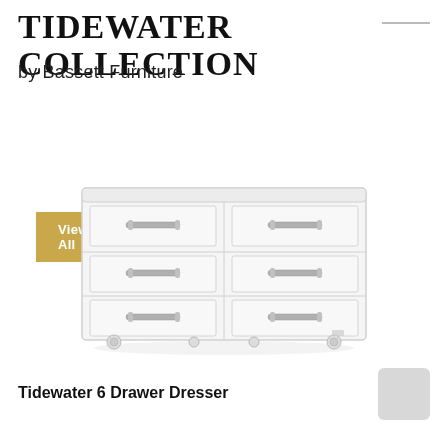TIDEWATER COLLECTION
by Bassett Furniture
View All
[Figure (photo): A white six-drawer dresser with silver bar handles and small caster wheels, shown on a white background. The dresser has three rows of two drawers each.]
Tidewater 6 Drawer Dresser